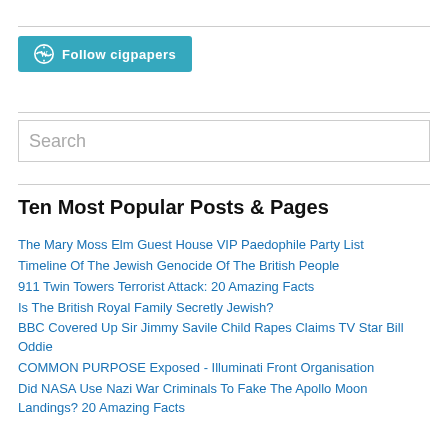[Figure (other): WordPress Follow button with teal background labeled 'Follow cigpapers']
Search
Ten Most Popular Posts & Pages
The Mary Moss Elm Guest House VIP Paedophile Party List
Timeline Of The Jewish Genocide Of The British People
911 Twin Towers Terrorist Attack: 20 Amazing Facts
Is The British Royal Family Secretly Jewish?
BBC Covered Up Sir Jimmy Savile Child Rapes Claims TV Star Bill Oddie
COMMON PURPOSE Exposed - Illuminati Front Organisation
Did NASA Use Nazi War Criminals To Fake The Apollo Moon Landings? 20 Amazing Facts